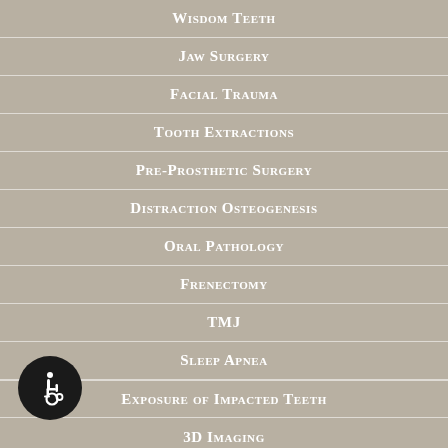Wisdom Teeth
Jaw Surgery
Facial Trauma
Tooth Extractions
Pre-Prosthetic Surgery
Distraction Osteogenesis
Oral Pathology
Frenectomy
TMJ
Sleep Apnea
Exposure of Impacted Teeth
3D Imaging
[Figure (logo): Wheelchair accessibility icon — white wheelchair symbol on black circle]